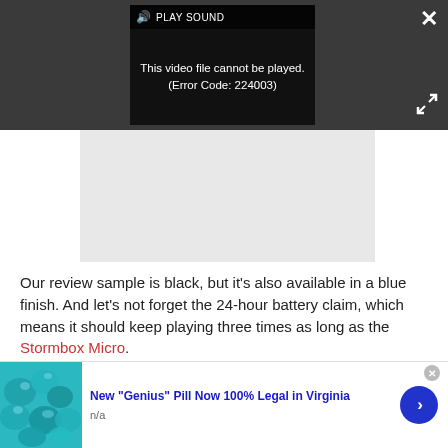[Figure (screenshot): Video player showing error message 'This video file cannot be played. (Error Code: 224003)' with a dark gray background, play sound bar at top, close button (X) top right, and fullscreen expand button bottom right.]
[Figure (other): Gray ad placeholder rectangle below the video player.]
Our review sample is black, but it’s also available in a blue finish. And let’s not forget the 24-hour battery claim, which means it should keep playing three times as long as the Stormbox Micro.
[Figure (infographic): Ad banner: thumbnail image of teal/turquoise stones, headline 'New "Genius" Pill Now 100% Legal in Virginia', subtext 'n/a', blue arrow button on right, close button top right.]